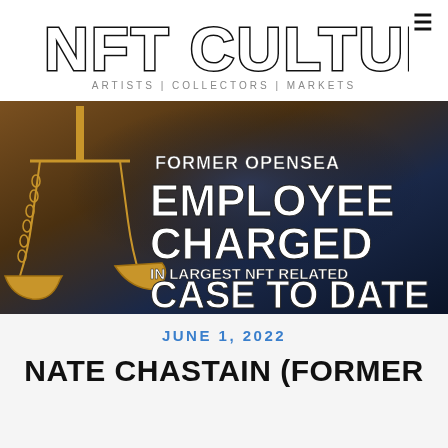NFT CULTURE | ARTISTS | COLLECTORS | MARKETS
[Figure (photo): Hero image with scales of justice (gold colored) on dark blue background, with text overlay: FORMER OPENSEA EMPLOYEE CHARGED IN LARGEST NFT RELATED CASE TO DATE]
JUNE 1, 2022
NATE CHASTAIN (FORMER